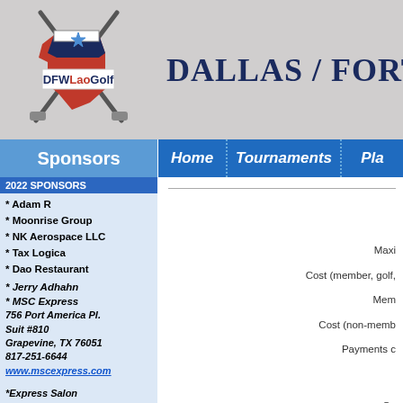[Figure (logo): DFW Lao Golf logo with Texas state shape, crossed golf clubs, and star. Text reads DFWLaoGolf.]
Dallas / Fort W
Sponsors | Home | Tournaments | Pla
2022 SPONSORS
* Adam R
* Moonrise Group
* NK Aerospace LLC
* Tax Logica
* Dao Restaurant
* Jerry Adhahn
* MSC Express
756 Port America Pl.
Suit #810
Grapevine, TX 76051
817-251-6644
www.mscexpress.com
*Express Salon
7630 North Beach Street #176
Fort Worth, TX 76137
817-788-9530
Maxi...
Cost (member, golf,...
Mem...
Cost (non-memb...
Payments c...